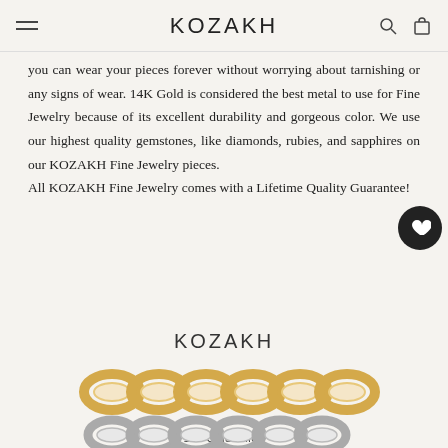KOZAKH
you can wear your pieces forever without worrying about tarnishing or any signs of wear. 14K Gold is considered the best metal to use for Fine Jewelry because of its excellent durability and gorgeous color. We use our highest quality gemstones, like diamonds, rubies, and sapphires on our KOZAKH Fine Jewelry pieces.
All KOZAKH Fine Jewelry comes with a Lifetime Quality Guarantee!
KOZAKH
[Figure (illustration): Gold chain link illustration labeled '14k Gold Filled']
14k Gold Filled
[Figure (illustration): Silver/grey chain link illustration at bottom of page]